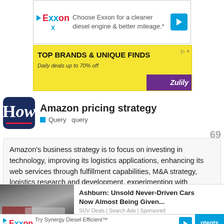[Figure (other): Exxon advertisement: Choose Exxon for a cleaner diesel engine & better mileage.*]
[Figure (other): Zulily advertisement: TOP BRANDS & UNIQUE FINDS. Daily deals up to 70% off]
Amazon pricing strategy
Query  query
Amazon's business strategy is to focus on investing in technology, improving its logistics applications, enhancing its web services through fulfillment capabilities, M&A strategy, logistics research and development, experimenting with FinTech, and protecting its inventions. with patents.
[Figure (other): Advertisement: Ashburn: Unsold Never-Driven Cars Now Almost Being Given... SUV Deals | Search Ads | Sponsored]
[Figure (other): Exxon advertisement: Try Synergy Diesel Efficient fuel for better fuel economy.*]